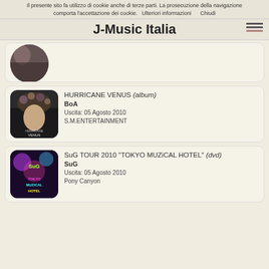Il presente sito fa utilizzo di cookie anche di terze parti. La prosecuzione della navigazione comporta l'accettazione dei cookie.   Ulteriori informazioni      Chiudi
J-Music Italia
[Figure (photo): Partial album cover image, circular crop, partially visible at top of page]
HURRICANE VENUS (album)
BoA
Uscita: 05 Agosto 2010
S.M.ENTERTAINMENT
[Figure (photo): BoA Hurricane Venus album cover - woman with flower crown]
SuG TOUR 2010 "TOKYO MUZiCAL HOTEL" (dvd)
SuG
Uscita: 05 Agosto 2010
Pony Canyon
[Figure (photo): SuG Tokyo Muzical Hotel DVD cover - colorful concert imagery]